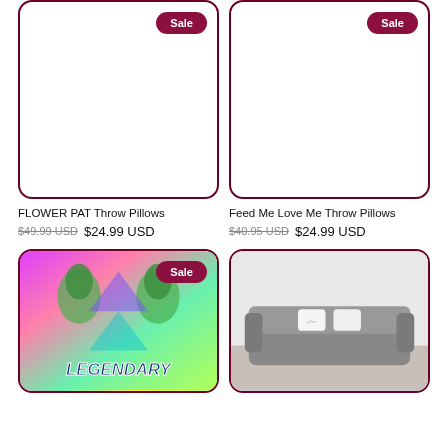[Figure (photo): Product image placeholder for FLOWER PAT Throw Pillows with Sale badge, white background]
FLOWER PAT Throw Pillows
$49.99 USD  $24.99 USD
[Figure (photo): Product image placeholder for Feed Me Love Me Throw Pillows with Sale badge, white background]
Feed Me Love Me Throw Pillows
$40.95 USD  $24.99 USD
[Figure (photo): Legendary throw pillow with colorful pop art style person image and LEGENDARY text, Sale badge]
[Figure (photo): Throw pillow on sofa in room setting, gray sofa with white pillows]